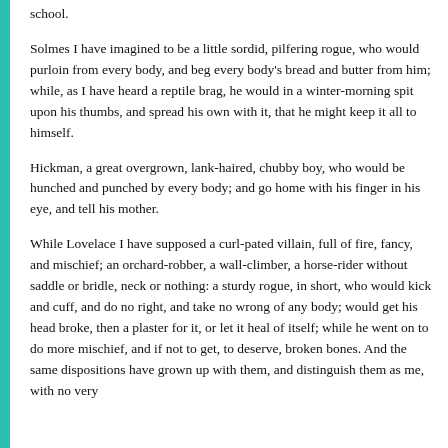school.
Solmes I have imagined to be a little sordid, pilfering rogue, who would purloin from every body, and beg every body's bread and butter from him; while, as I have heard a reptile brag, he would in a winter-morning spit upon his thumbs, and spread his own with it, that he might keep it all to himself.
Hickman, a great overgrown, lank-haired, chubby boy, who would be hunched and punched by every body; and go home with his finger in his eye, and tell his mother.
While Lovelace I have supposed a curl-pated villain, full of fire, fancy, and mischief; an orchard-robber, a wall-climber, a horse-rider without saddle or bridle, neck or nothing: a sturdy rogue, in short, who would kick and cuff, and do no right, and take no wrong of any body; would get his head broke, then a plaster for it, or let it heal of itself; while he went on to do more mischief, and if not to get, to deserve, broken bones. And the same dispositions have grown up with them, and distinguish them as me, with no very